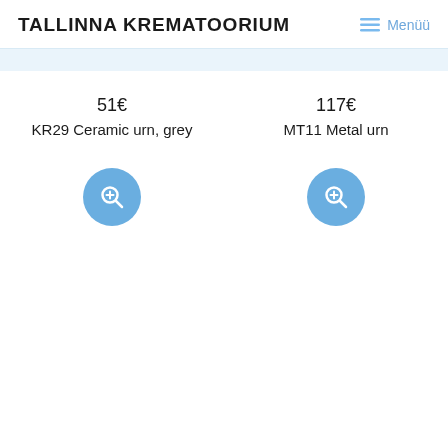TALLINNA KREMATOORIUM  ≡ Menüü
51€
KR29 Ceramic urn, grey
117€
MT11 Metal urn
[Figure (illustration): Blue circular button with magnifier plus icon (add to cart/quickview), for KR29 Ceramic urn, grey]
[Figure (illustration): Blue circular button with magnifier plus icon (add to cart/quickview), for MT11 Metal urn]